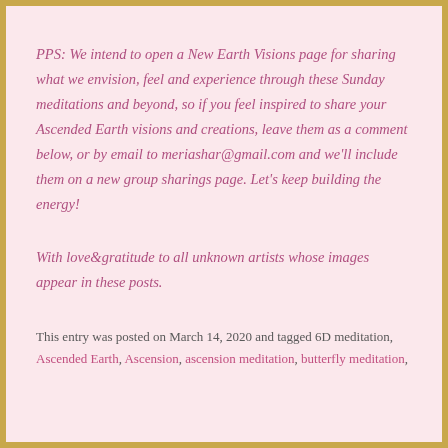PPS: We intend to open a New Earth Visions page for sharing what we envision, feel and experience through these Sunday meditations and beyond, so if you feel inspired to share your Ascended Earth visions and creations, leave them as a comment below, or by email to meriashar@gmail.com and we'll include them on a new group sharings page. Let's keep building the energy!
With love&gratitude to all unknown artists whose images appear in these posts.
This entry was posted on March 14, 2020 and tagged 6D meditation, Ascended Earth, Ascension, ascension meditation, butterfly meditation,